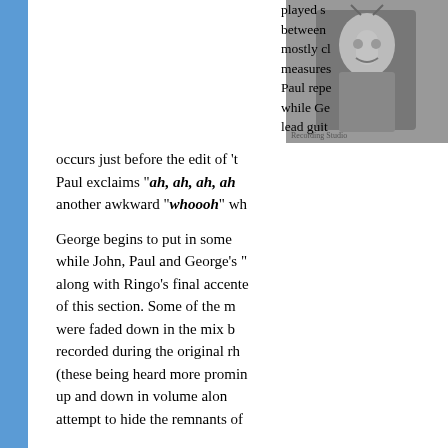[Figure (photo): Black and white photograph of a man singing into a microphone with his hand raised]
played s between mostly cl measures Paul repe while Ge lead guit occurs just before the edit of 't Paul exclaims "ah, ah, ah, ah another awkward “whoooh” wh
George begins to put in some while John, Paul and George's “ along with Ringo's final accente of this section. Some of the m were faded down in the mix b recorded during the original rh (these being heard more promin up and down in volume alon attempt to hide the remnants of
Ringo begins crashing cymbals and then flamboyantly flailing measure twenty-three on. Paul’s bells appear throughout these accentuation of John’s guit